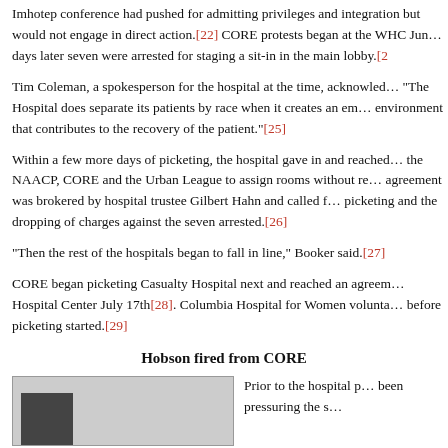Imhotep conference had pushed for admitting privileges and integration but would not engage in direct action.[22] CORE protests began at the WHC June... days later seven were arrested for staging a sit-in in the main lobby.[2...]
Tim Coleman, a spokesperson for the hospital at the time, acknowledged... "The Hospital does separate its patients by race when it creates an em... environment that contributes to the recovery of the patient."[25]
Within a few more days of picketing, the hospital gave in and reached... the NAACP, CORE and the Urban League to assign rooms without r... agreement was brokered by hospital trustee Gilbert Hahn and called f... picketing and the dropping of charges against the seven arrested.[26]
"Then the rest of the hospitals began to fall in line," Booker said.[27]
CORE began picketing Casualty Hospital next and reached an agree... Hospital Center July 17th[28]. Columbia Hospital for Women volunta... before picketing started.[29]
Hobson fired from CORE
[Figure (photo): Black and white photograph of a person]
Prior to the hospital p... been pressuring the s...